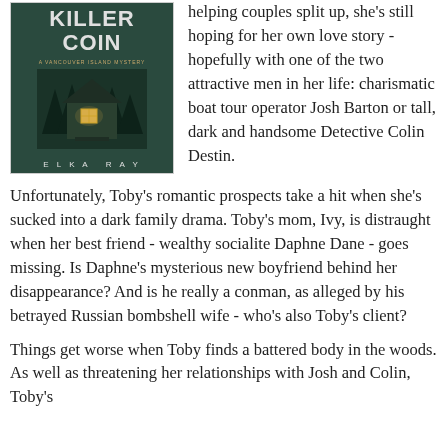[Figure (illustration): Book cover of 'Killer Coin' by Elka Ray, a Vancouver Island Mystery. Shows a dark teal/green background with a wooden house structure and light in window, with the title in large white letters and author name at the bottom.]
helping couples split up, she's still hoping for her own love story - hopefully with one of the two attractive men in her life: charismatic boat tour operator Josh Barton or tall, dark and handsome Detective Colin Destin.
Unfortunately, Toby's romantic prospects take a hit when she's sucked into a dark family drama. Toby's mom, Ivy, is distraught when her best friend - wealthy socialite Daphne Dane - goes missing. Is Daphne's mysterious new boyfriend behind her disappearance? And is he really a conman, as alleged by his betrayed Russian bombshell wife - who's also Toby's client?
Things get worse when Toby finds a battered body in the woods. As well as threatening her relationships with Josh and Colin, Toby's